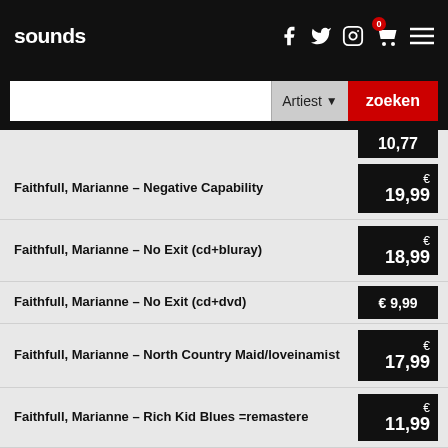sounds — Artiest — zoeken
Faithfull, Marianne – Negative Capability
Faithfull, Marianne – No Exit (cd+bluray)
Faithfull, Marianne – No Exit (cd+dvd)
Faithfull, Marianne – North Country Maid/loveinamist
Faithfull, Marianne – Rich Kid Blues =remastere
Faithfull, Marianne – Seven Deadly Sins
Faithfull, Marianne – She Walks In Beauty
Faithfull, Marianne – Songs Of Innocence And